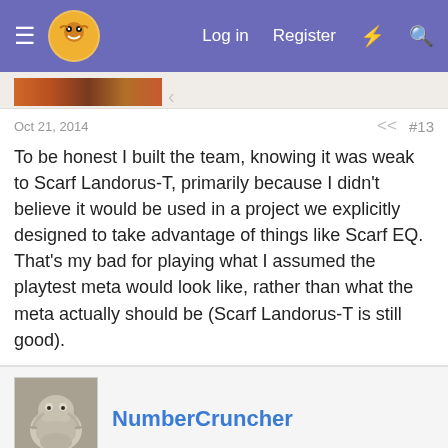Log in  Register
Oct 21, 2014   #13
To be honest I built the team, knowing it was weak to Scarf Landorus-T, primarily because I didn't believe it would be used in a project we explicitly designed to take advantage of things like Scarf EQ. That's my bad for playing what I assumed the playtest meta would look like, rather than what the meta actually should be (Scarf Landorus-T is still good).
NumberCruncher
Oct 21, 2014   #14
jas61292 said:
While I can't say too much about you wanting to KO it at all times, I think you are approaching this from the wrong angle when talking